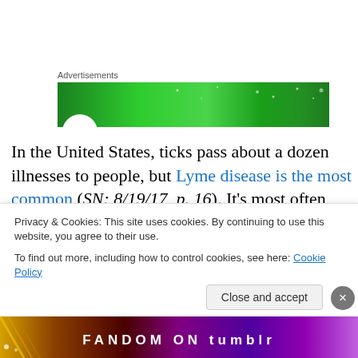Advertisements
[Figure (other): Green advertisement banner with white dots/sparkles pattern and a white circle at the bottom left]
In the United States, ticks pass about a dozen illnesses to people, but Lyme disease is the most common (SN: 8/19/17, p. 16). It's most often caused by the bacterium Borrelia burgdorferi, which usually hitches a ride inside black-legged ticks, also known as deer ticks. When a tick bites and latches on to a person, the bacteria enter...
Privacy & Cookies: This site uses cookies. By continuing to use this website, you agree to their use.
To find out more, including how to control cookies, see here: Cookie Policy
[Figure (other): Fandom on Tumblr colorful banner at the bottom]